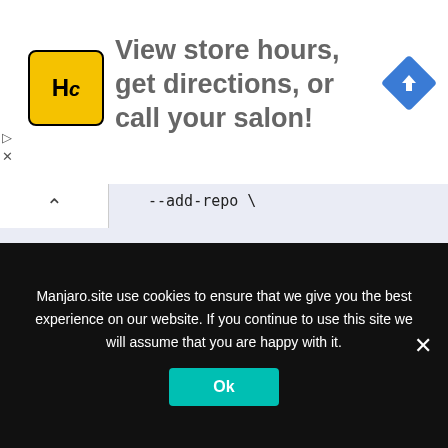[Figure (screenshot): Ad banner with HC logo, text 'View store hours, get directions, or call your salon!' and a blue navigation arrow icon on the right]
--add-repo \

https://download.docker.com/linux/centos/docker-ce.repo
Now, install Docker with the yum install command
[Figure (screenshot): Second advertisement strip with purple/lavender background and partial text visible]
Manjaro.site use cookies to ensure that we give you the best experience on our website. If you continue to use this site we will assume that you are happy with it.